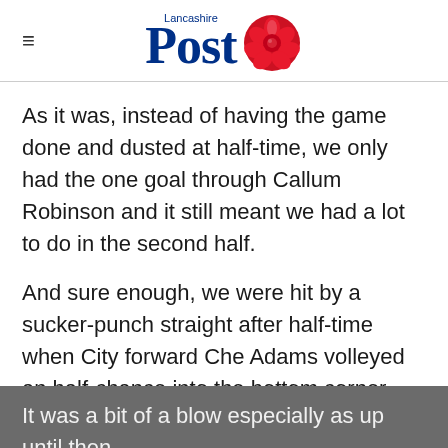Lancashire Post
As it was, instead of having the game done and dusted at half-time, we only had the one goal through Callum Robinson and it still meant we had a lot to do in the second half.
And sure enough, we were hit by a sucker-punch straight after half-time when City forward Che Adams volleyed an half-chance into the bottom corner.
It was a bit of a blow especially as up until then